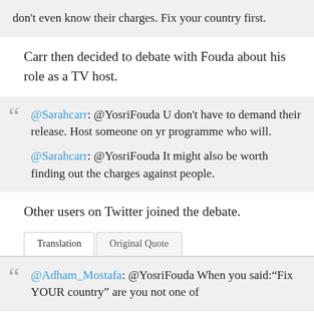don't even know their charges. Fix your country first.
Carr then decided to debate with Fouda about his role as a TV host.
@Sarahcarr: @YosriFouda U don't have to demand their release. Host someone on yr programme who will. @Sarahcarr: @YosriFouda It might also be worth finding out the charges against people.
Other users on Twitter joined the debate.
Translation | Original Quote
@Adham_Mostafa: @YosriFouda When you said:"Fix YOUR country" are you not one of